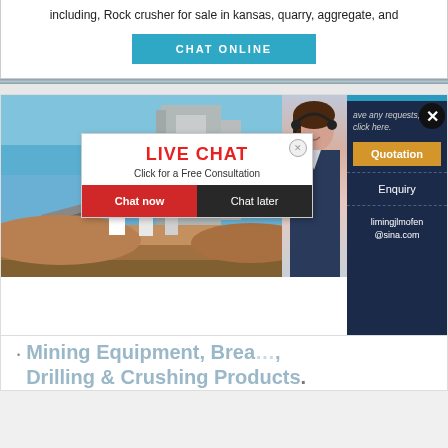including, Rock crusher for sale in kansas, quarry, aggregate, and
[Figure (screenshot): Blue 'CHAT ONLINE' button on white background]
[Figure (screenshot): Live chat popup overlay showing construction site background image with workers in yellow helmets. Popup says 'LIVE CHAT - Click for a Free Consultation' with 'Chat now' (red) and 'Chat later' (dark) buttons. Right side panel shows customer service woman with headset, Quotation button (orange), Enquiry option, and email limingjlmofen@sina.com. Close button (X) in top right corner.]
Mining Equipment, Breaking, Drilling & Crushing Products,